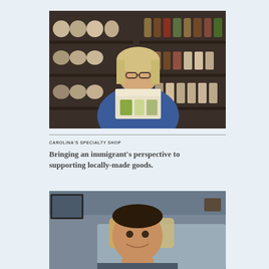[Figure (photo): A woman with blonde hair and glasses wearing a blue top, holding an open box with products inside, standing in front of shelves stocked with jars, bottles, and specialty goods in a shop.]
CAROLINA'S SPECIALTY SHOP
Bringing an immigrant's perspective to supporting locally-made goods.
[Figure (photo): A young smiling boy sitting in a living room setting with a couch and decorative pillows visible in the background.]